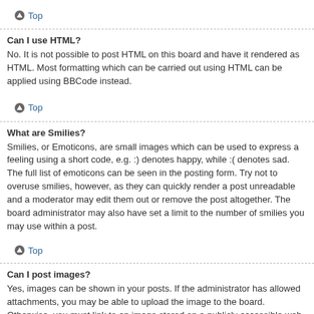Top
Can I use HTML?
No. It is not possible to post HTML on this board and have it rendered as HTML. Most formatting which can be carried out using HTML can be applied using BBCode instead.
Top
What are Smilies?
Smilies, or Emoticons, are small images which can be used to express a feeling using a short code, e.g. :) denotes happy, while :( denotes sad. The full list of emoticons can be seen in the posting form. Try not to overuse smilies, however, as they can quickly render a post unreadable and a moderator may edit them out or remove the post altogether. The board administrator may also have set a limit to the number of smilies you may use within a post.
Top
Can I post images?
Yes, images can be shown in your posts. If the administrator has allowed attachments, you may be able to upload the image to the board. Otherwise, you must link to an image stored on a publicly accessible web server, e.g. http://www.example.com/my-picture.gif. You cannot link to pictures stored on your own PC (unless it is a publicly accessible server) nor images stored behind authentication mechanisms, e.g. hotmail or yahoo mailboxes, password protected sites, etc.